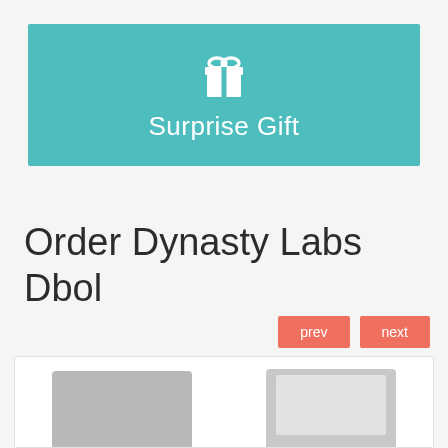[Figure (illustration): Teal/turquoise banner with a white gift box icon and the text 'Surprise Gift']
Order Dynasty Labs Dbol
[Figure (other): Two navigation buttons: 'prev' and 'next' in coral/salmon color]
[Figure (photo): Partial view of two product containers/boxes in grey tones at the bottom of the page]